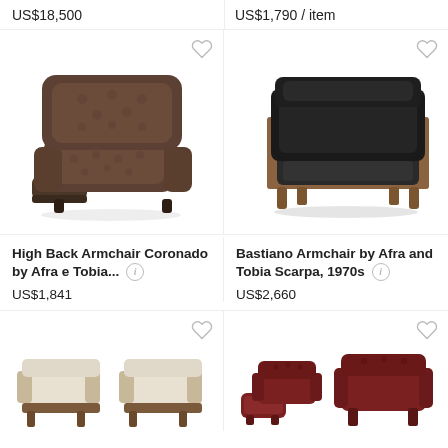US$18,500
US$1,790 / item
[Figure (photo): Brown leather high back recliner armchair Coronado by Afra e Tobia Scarpa, side/three-quarter view]
[Figure (photo): Bastiano armchair by Afra and Tobia Scarpa 1970s, dark leather with walnut wood frame, front view]
High Back Armchair Coronado by Afra e Tobia...
US$1,841
Bastiano Armchair by Afra and Tobia Scarpa, 1970s
US$2,660
[Figure (photo): Two white upholstered armchairs with dark wood frames, side by side, partial view at bottom of page]
[Figure (photo): Two burgundy/dark red leather tufted armchairs with ottoman, side by side, partial view at bottom of page]